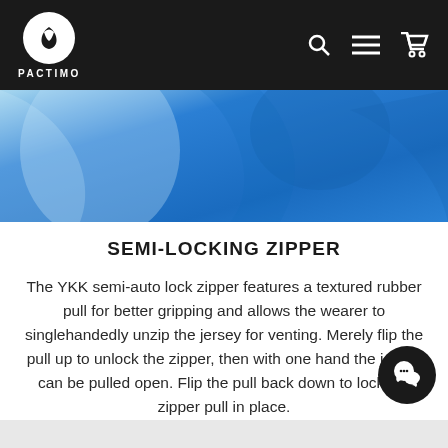PACTIMO
[Figure (photo): Close-up photo of a person wearing a blue cycling jersey, showing the fabric texture and fit near the shoulder/chest area.]
SEMI-LOCKING ZIPPER
The YKK semi-auto lock zipper features a textured rubber pull for better gripping and allows the wearer to singlehandedly unzip the jersey for venting. Merely flip the pull up to unlock the zipper, then with one hand the jersey can be pulled open. Flip the pull back down to lock the zipper pull in place.